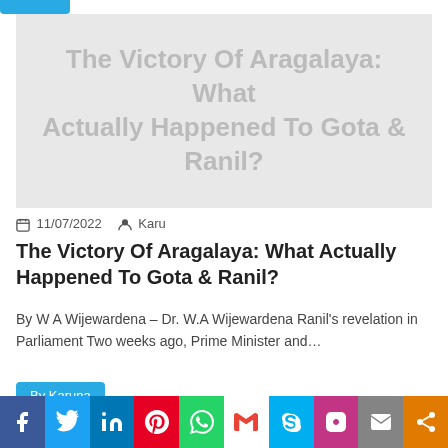[Figure (other): Article thumbnail image placeholder with text 'The Victory Of Aragalaya: What Actually Happened To Gota & Ranil?' in gray on a light gray background]
11/07/2022   Karu
The Victory Of Aragalaya: What Actually Happened To Gota & Ranil?
By W A Wijewardena – Dr. W.A Wijewardena Ranil's revelation in Parliament Two weeks ago, Prime Minister and…
By Karuna